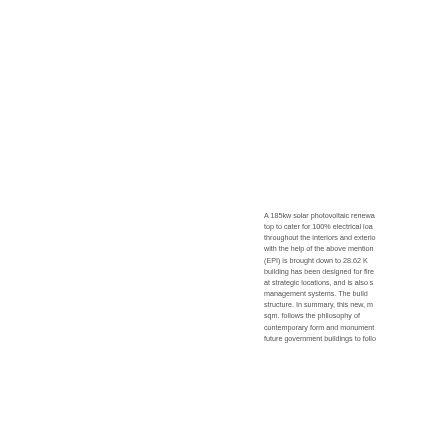A 185kw solar photovoltaic renewa... top to cater for 100% electrical loa... throughout the interiors and exterio... with the help of the above mention... (EPI) is brought down to 28.62 K... building has been designed for fire... at strategic locations, and is also s... management systems. The build... structure. In summary, this new, m... sqm. follows the philosophy of... contemporary form and monument... future government buildings to follo...